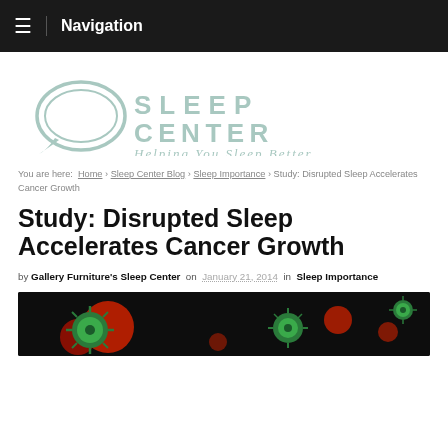≡ Navigation
[Figure (logo): Sleep Center logo with pillow icon and tagline 'Helping You Sleep Better']
You are here: Home › Sleep Center Blog › Sleep Importance › Study: Disrupted Sleep Accelerates Cancer Growth
Study: Disrupted Sleep Accelerates Cancer Growth
by Gallery Furniture's Sleep Center on January 21, 2014 in Sleep Importance
[Figure (photo): Dark background image showing green and red virus/cancer cell illustrations]